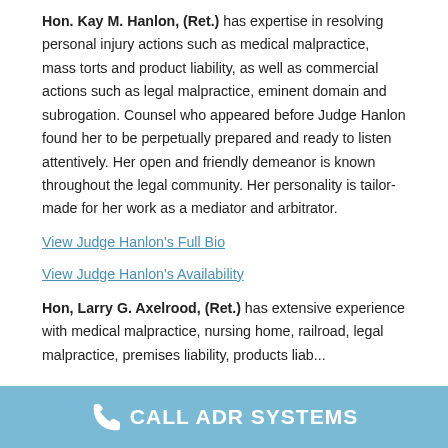Hon. Kay M. Hanlon, (Ret.) has expertise in resolving personal injury actions such as medical malpractice, mass torts and product liability, as well as commercial actions such as legal malpractice, eminent domain and subrogation. Counsel who appeared before Judge Hanlon found her to be perpetually prepared and ready to listen attentively. Her open and friendly demeanor is known throughout the legal community. Her personality is tailor-made for her work as a mediator and arbitrator.
View Judge Hanlon's Full Bio
View Judge Hanlon's Availability
Hon, Larry G. Axelrood, (Ret.) has extensive experience with medical malpractice, nursing home, railroad, legal malpractice, premises liability, products liability and more...
CALL ADR SYSTEMS